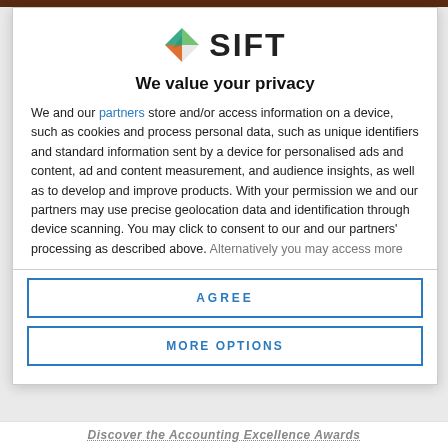[Figure (logo): SIFT logo with geometric diamond-shaped icon in green, teal, orange, and white segments, next to bold text 'SIFT']
We value your privacy
We and our partners store and/or access information on a device, such as cookies and process personal data, such as unique identifiers and standard information sent by a device for personalised ads and content, ad and content measurement, and audience insights, as well as to develop and improve products. With your permission we and our partners may use precise geolocation data and identification through device scanning. You may click to consent to our and our partners' processing as described above. Alternatively you may access more
AGREE
MORE OPTIONS
Discover the Accounting Excellence Awards